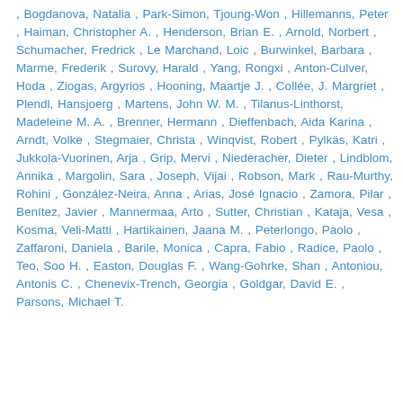, Bogdanova, Natalia , Park-Simon, Tjoung-Won , Hillemanns, Peter , Haiman, Christopher A. , Henderson, Brian E. , Arnold, Norbert , Schumacher, Fredrick , Le Marchand, Loic , Burwinkel, Barbara , Marme, Frederik , Surovy, Harald , Yang, Rongxi , Anton-Culver, Hoda , Ziogas, Argyrios , Hooning, Maartje J. , Collée, J. Margriet , Plendl, Hansjoerg , Martens, John W. M. , Tilanus-Linthorst, Madeleine M. A. , Brenner, Hermann , Dieffenbach, Aida Karina , Arndt, Volke , Stegmaier, Christa , Winqvist, Robert , Pylkäs, Katri , Jukkola-Vuorinen, Arja , Grip, Mervi , Niederacher, Dieter , Lindblom, Annika , Margolin, Sara , Joseph, Vijai , Robson, Mark , Rau-Murthy, Rohini , González-Neira, Anna , Arias, José Ignacio , Zamora, Pilar , Benítez, Javier , Mannermaa, Arto , Sutter, Christian , Kataja, Vesa , Kosma, Veli-Matti , Hartikainen, Jaana M. , Peterlongo, Paolo , Zaffaroni, Daniela , Barile, Monica , Capra, Fabio , Radice, Paolo , Teo, Soo H. , Easton, Douglas F. , Wang-Gohrke, Shan , Antoniou, Antonis C. , Chenevix-Trench, Georgia , Goldgar, David E. , Parsons, Michael T.